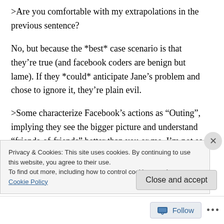>Are you comfortable with my extrapolations in the previous sentence?
No, but because the *best* case scenario is that they're true (and facebook coders are benign but lame). If they *could* anticipate Jane's problem and chose to ignore it, they're plain evil.
>Some characterize Facebook's actions as “Outing”, implying they see the bigger picture and understand “friends-of-friends” better than you or me. I’m not so sure.
Privacy & Cookies: This site uses cookies. By continuing to use this website, you agree to their use.
To find out more, including how to control cookies, see here: Cookie Policy
Close and accept
Follow ...